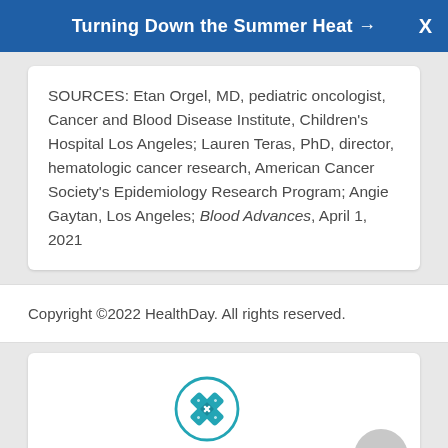Turning Down the Summer Heat →
SOURCES: Etan Orgel, MD, pediatric oncologist, Cancer and Blood Disease Institute, Children's Hospital Los Angeles; Lauren Teras, PhD, director, hematologic cancer research, American Cancer Society's Epidemiology Research Program; Angie Gaytan, Los Angeles; Blood Advances, April 1, 2021
Copyright ©2022 HealthDay. All rights reserved.
[Figure (illustration): Teal bandage/first-aid cross icon inside a teal circle outline, with 'Find a Doctor' text below]